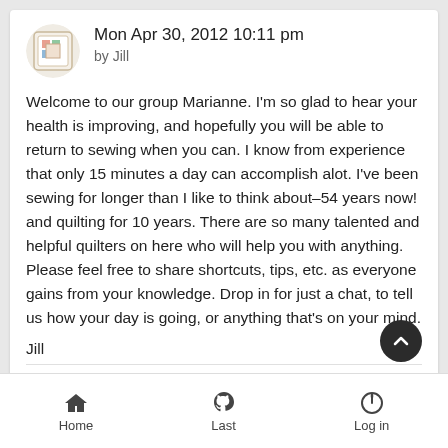Mon Apr 30, 2012 10:11 pm by Jill
Welcome to our group Marianne. I'm so glad to hear your health is improving, and hopefully you will be able to return to sewing when you can. I know from experience that only 15 minutes a day can accomplish alot. I've been sewing for longer than I like to think about–54 years now! and quilting for 10 years. There are so many talented and helpful quilters on here who will help you with anything. Please feel free to share shortcuts, tips, etc. as everyone gains from your knowledge. Drop in for just a chat, to tell us how your day is going, or anything that's on your mind.
Jill
Like
Reply to topic
Home   Last   Log in